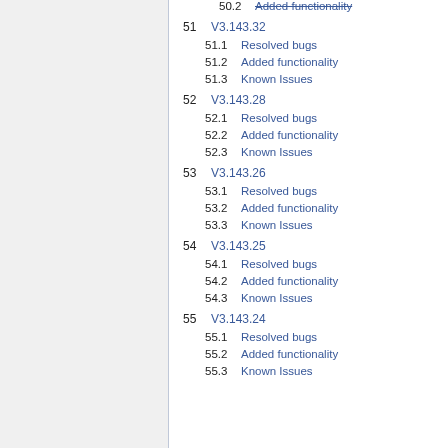50.2 Added functionality
51 V3.143.32
51.1 Resolved bugs
51.2 Added functionality
51.3 Known Issues
52 V3.143.28
52.1 Resolved bugs
52.2 Added functionality
52.3 Known Issues
53 V3.143.26
53.1 Resolved bugs
53.2 Added functionality
53.3 Known Issues
54 V3.143.25
54.1 Resolved bugs
54.2 Added functionality
54.3 Known Issues
55 V3.143.24
55.1 Resolved bugs
55.2 Added functionality
55.3 Known Issues